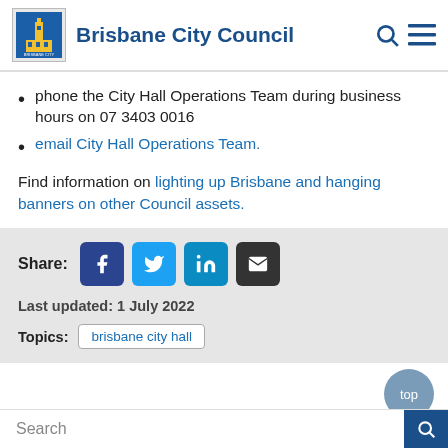Brisbane City Council
phone the City Hall Operations Team during business hours on 07 3403 0016
email City Hall Operations Team.
Find information on lighting up Brisbane and hanging banners on other Council assets.
Share: [Facebook] [Twitter] [LinkedIn] [Email]
Last updated: 1 July 2022
Topics: brisbane city hall
top
Search